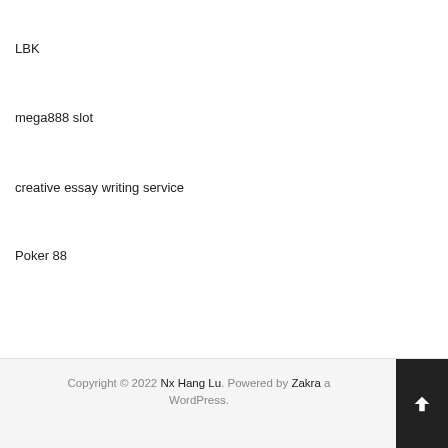LBK
mega888 slot
creative essay writing service
Poker 88
Copyright © 2022 Nx Hang Lu. Powered by Zakra and WordPress.